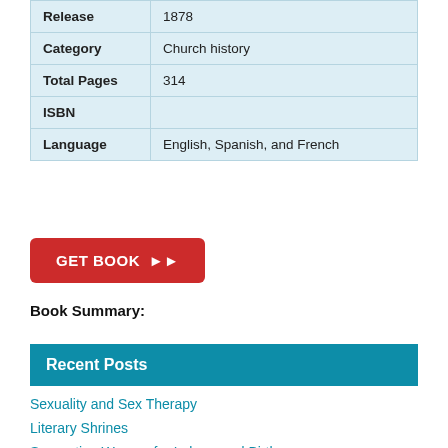| Release | 1878 |
| Category | Church history |
| Total Pages | 314 |
| ISBN |  |
| Language | English, Spanish, and French |
GET BOOK ▶▶
Book Summary:
Recent Posts
Sexuality and Sex Therapy
Literary Shrines
Supporting Women for Labour and Birth
Sparks: The Art of - Bernille Orum